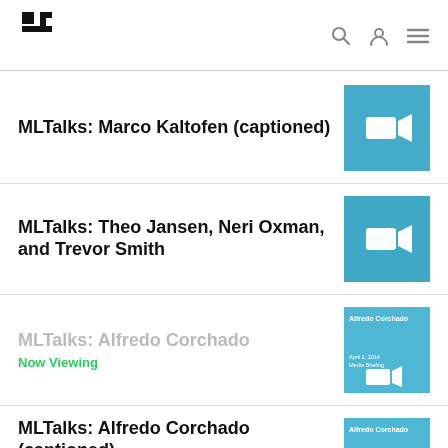MIT logo, search, user, menu icons
MLTalks: Marco Kaltofen (captioned)
MLTalks: Theo Jansen, Neri Oxman, and Trevor Smith
MLTalks: Alfredo Corchado — Now Viewing
MLTalks: Alfredo Corchado (captioned)